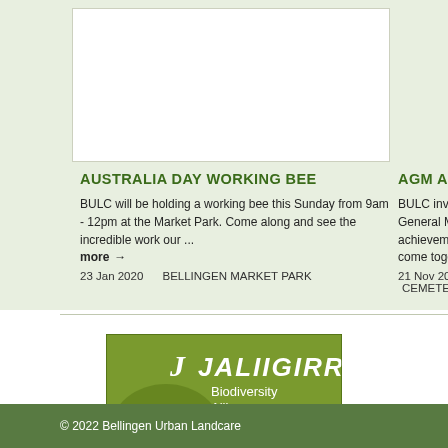AUSTRALIA DAY WORKING BEE
BULC will be holding a working bee this Sunday from 9am - 12pm at the Market Park. Come along and see the incredible work our ... more →
23 Jan 2020    BELLINGEN MARKET PARK
AGM AND CELEB
BULC invites you General Meeting a achievements ove come together ... m
21 Nov 2019    CEMETERY CR
[Figure (logo): Jaliigirr Biodiversity Alliance logo - green background with stylized bird/nature imagery and text]
© 2022 Bellingen Urban Landcare